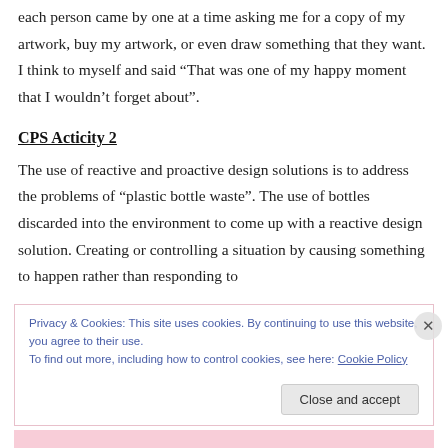each person came by one at a time asking me for a copy of my artwork, buy my artwork, or even draw something that they want. I think to myself and said “That was one of my happy moment that I wouldn’t forget about”.
CPS Acticity 2
The use of reactive and proactive design solutions is to address the problems of “plastic bottle waste”. The use of bottles discarded into the environment to come up with a reactive design solution. Creating or controlling a situation by causing something to happen rather than responding to